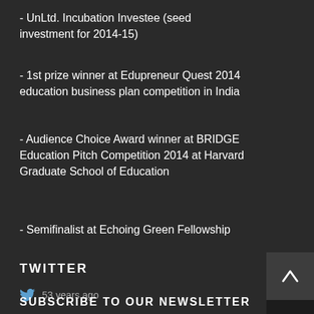- UnLtd. Incubation Investee (seed investment for 2014-15)
- 1st prize winner at Edupreneur Quest 2014 education business plan competition in India
- Audience Choice Award winner at BRIDGE Education Pitch Competition 2014 at Harvard Graduate School of Education
- Semifinalist at Echoing Green Fellowship
TWITTER
53 years ago
SUBSCRIBE TO OUR NEWSLETTER